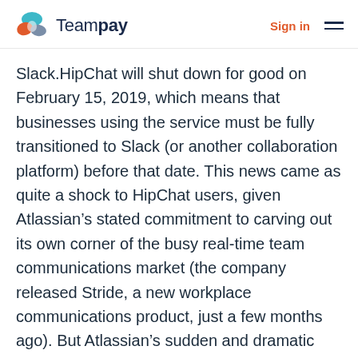Teampay | Sign in
Slack.HipChat will shut down for good on February 15, 2019, which means that businesses using the service must be fully transitioned to Slack (or another collaboration platform) before that date. This news came as quite a shock to HipChat users, given Atlassian’s stated commitment to carving out its own corner of the busy real-time team communications market (the company released Stride, a new workplace communications product, just a few months ago). But Atlassian’s sudden and dramatic about-face was an inevitable reaction to the pressures of its chosen marketplace.